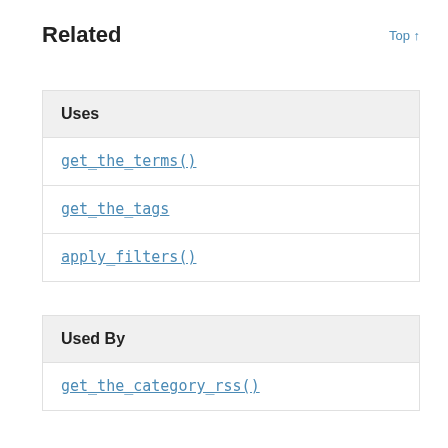Related
Top ↑
Uses
get_the_terms()
get_the_tags
apply_filters()
Used By
get_the_category_rss()